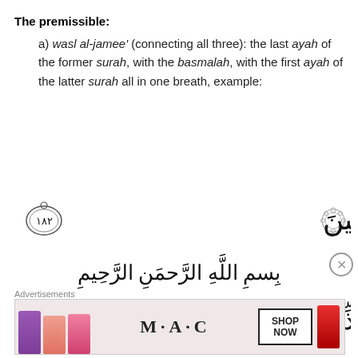The premissible:
a) wasl al-jamee' (connecting all three): the last ayah of the former surah, with the basmalah, with the first ayah of the latter surah all in one breath, example:
[Figure (illustration): Arabic Quranic text showing three lines: first line with ornate verse marker and Arabic text 'wal-hamdu lillahi rabbil-'alameen' with verse number 182, second line with basmalah 'bismillahi ar-rahmani ar-raheem', third line with ornate verse marker and Arabic text 'Sad, wal-qur'ani dhil-dhikr' with verse number 1]
Advertisements
[Figure (photo): MAC Cosmetics advertisement banner showing colorful lipsticks on the left, MAC logo in center, SHOP NOW button, and a red lipstick on the right]